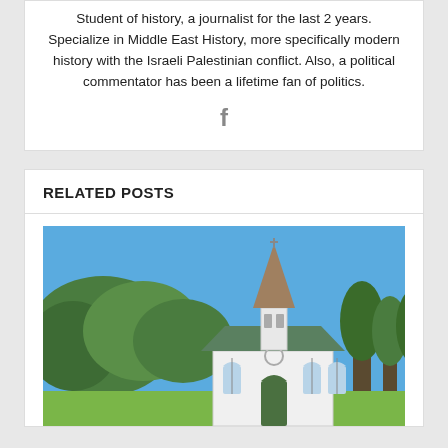Student of history, a journalist for the last 2 years. Specialize in Middle East History, more specifically modern history with the Israeli Palestinian conflict. Also, a political commentator has been a lifetime fan of politics.
[Figure (illustration): Facebook 'f' icon in gray]
RELATED POSTS
[Figure (photo): A white country church with a tall steeple and green roof, surrounded by green trees under a blue sky]